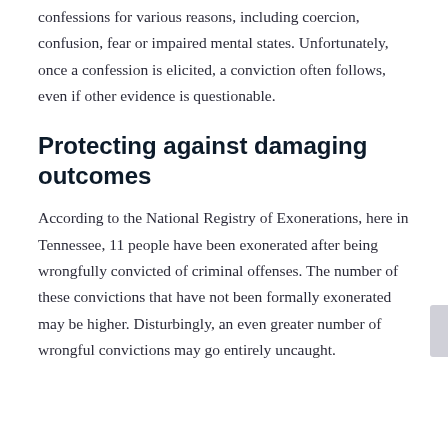confessions for various reasons, including coercion, confusion, fear or impaired mental states. Unfortunately, once a confession is elicited, a conviction often follows, even if other evidence is questionable.
Protecting against damaging outcomes
According to the National Registry of Exonerations, here in Tennessee, 11 people have been exonerated after being wrongfully convicted of criminal offenses. The number of these convictions that have not been formally exonerated may be higher. Disturbingly, an even greater number of wrongful convictions may go entirely uncaught.